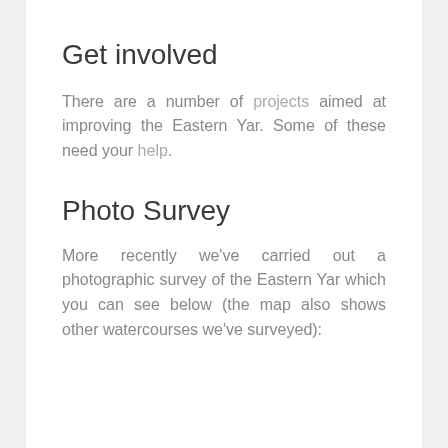Get involved
There are a number of projects aimed at improving the Eastern Yar. Some of these need your help.
Photo Survey
More recently we've carried out a photographic survey of the Eastern Yar which you can see below (the map also shows other watercourses we've surveyed):